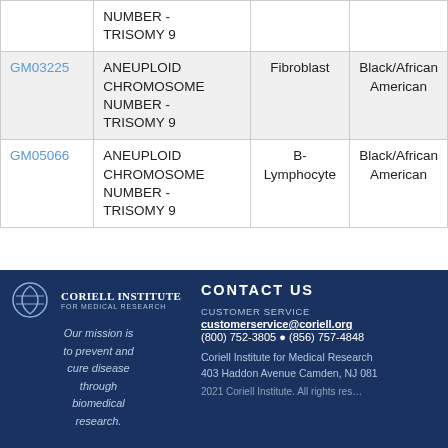| ID | Description | Cell Type | Race/Ethnicity |
| --- | --- | --- | --- |
|  | NUMBER - TRISOMY 9 |  |  |
| GM03225 | ANEUPLOID CHROMOSOME NUMBER - TRISOMY 9 | Fibroblast | Black/African American |
| GM05066 | ANEUPLOID CHROMOSOME NUMBER - TRISOMY 9 | B-Lymphocyte | Black/African American |
Coriell Institute for Medical Research | CONTACT US | CUSTOMER SERVICE | customerservice@coriell.org | (800) 752-3805 | (856) 757-4848 | 403 Haddon Avenue Camden, NJ 081 | 2021 Coriell Institute. All rights reserved.